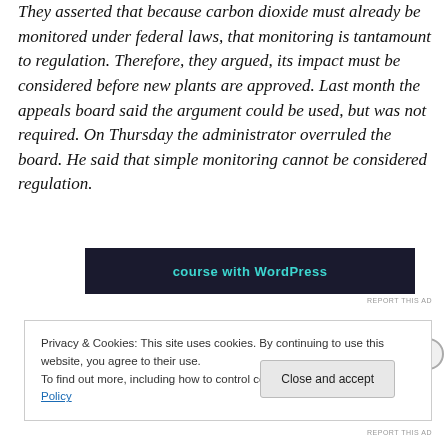They asserted that because carbon dioxide must already be monitored under federal laws, that monitoring is tantamount to regulation. Therefore, they argued, its impact must be considered before new plants are approved. Last month the appeals board said the argument could be used, but was not required. On Thursday the administrator overruled the board. He said that simple monitoring cannot be considered regulation.
[Figure (screenshot): Dark advertisement banner showing text 'course with WordPress' in teal color]
REPORT THIS AD
Privacy & Cookies: This site uses cookies. By continuing to use this website, you agree to their use.
To find out more, including how to control cookies, see here: Cookie Policy
Close and accept